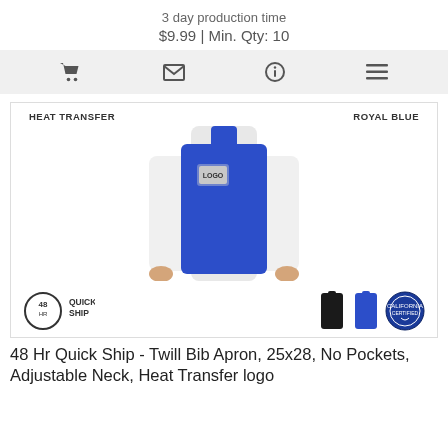3 day production time
$9.99 | Min. Qty: 10
[Figure (infographic): Icon bar with shopping cart, envelope, info, and list icons]
[Figure (photo): Royal blue twill bib apron worn by a person, with heat transfer logo on chest. Thumbnails show black and blue versions. 48 Hr Quick Ship badge and California certification badge shown.]
HEAT TRANSFER
ROYAL BLUE
48 Hr Quick Ship - Twill Bib Apron, 25x28, No Pockets, Adjustable Neck, Heat Transfer logo